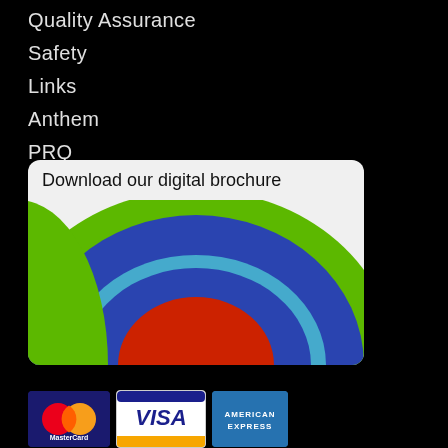Quality Assurance
Safety
Links
Anthem
PRQ
[Figure (illustration): Download our digital brochure card with concentric circles graphic in green, blue, light blue, and red]
[Figure (logo): MasterCard, Visa, and American Express payment method logos]